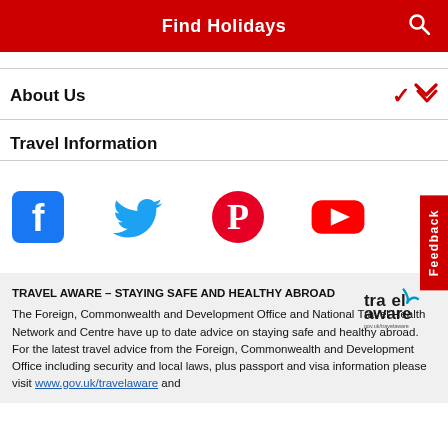Find Holidays
About Us
Travel Information
[Figure (infographic): Social media icons: Facebook, Twitter, Pinterest, YouTube]
TRAVEL AWARE – STAYING SAFE AND HEALTHY ABROAD
The Foreign, Commonwealth and Development Office and National Travel Health Network and Centre have up to date advice on staying safe and healthy abroad.
For the latest travel advice from the Foreign, Commonwealth and Development Office including security and local laws, plus passport and visa information please visit www.gov.uk/travelaware and